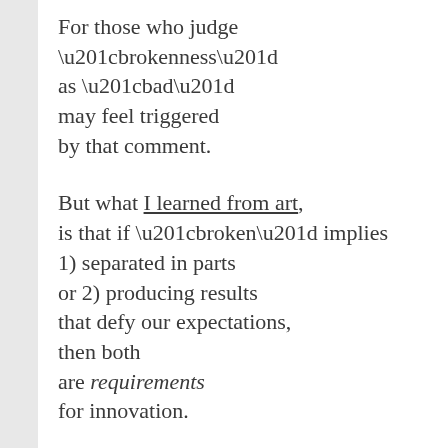For those who judge “brokenness” as “bad” may feel triggered by that comment.
But what I learned from art, is that if “broken” implies 1) separated in parts or 2) producing results that defy our expectations, then both are requirements for innovation.
Because parts must be separated